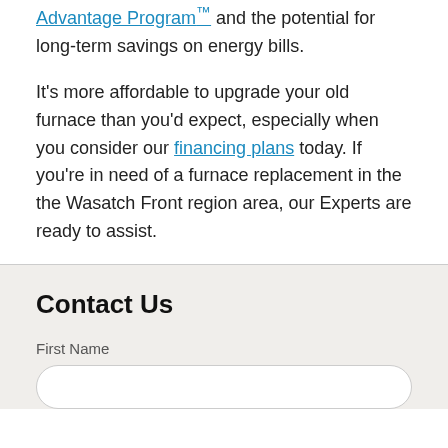Advantage Program™ and the potential for long-term savings on energy bills.
It's more affordable to upgrade your old furnace than you'd expect, especially when you consider our financing plans today. If you're in need of a furnace replacement in the the Wasatch Front region area, our Experts are ready to assist.
Contact Us
First Name